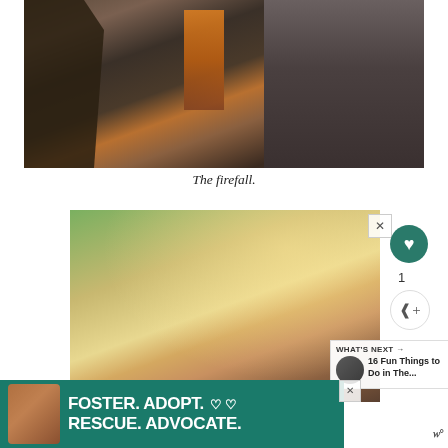[Figure (photo): Firefall photo showing a glowing orange waterfall of light between dark rocky cliffs of Yosemite, with dark trees on the left side]
The firefall.
[Figure (photo): Advertisement photo showing two hands forming a heart shape against a sunlit green background]
[Figure (photo): Foster/adopt/rescue/advocate advertisement banner with a dog image on teal background]
WHAT'S NEXT → 16 Fun Things to Do in The...